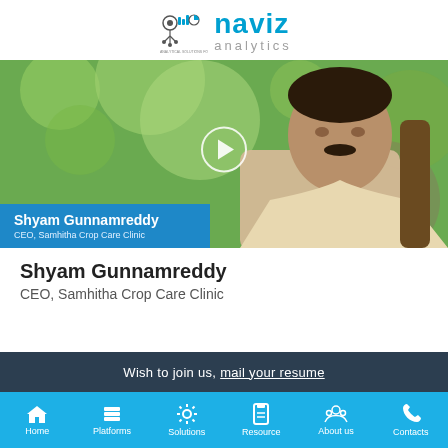[Figure (logo): Naviz Analytics logo with icon showing charts/analytics graphics and text 'naviz analytics']
[Figure (photo): Photo of Shyam Gunnamreddy, CEO of Samhitha Crop Care Clinic, with a video play button overlay and a blue name tag overlay at the bottom left]
Shyam Gunnamreddy
CEO, Samhitha Crop Care Clinic
Wish to join us, mail your resume
Home | Platforms | Solutions | Resource | About us | Contacts